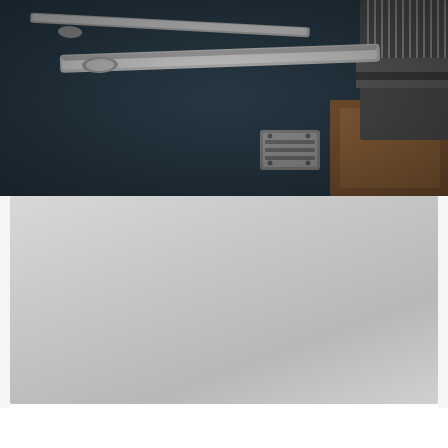[Figure (photo): Close-up photo of barber/shaving tools including razors and a comb laid on a dark towel or fabric]
[Figure (photo): Light gray blurred or faded lower portion of the barber tools image, appearing as a soft gray gradient card]
Best Razor Strop: 7 Sharper Choices